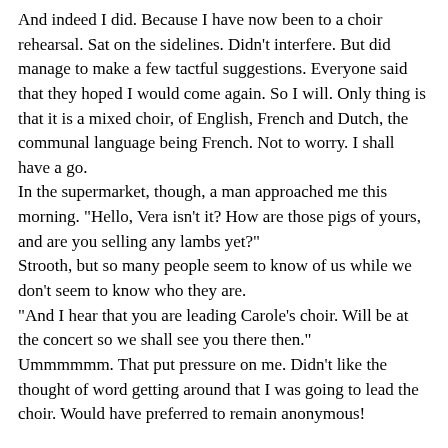And indeed I did. Because I have now been to a choir rehearsal. Sat on the sidelines. Didn't interfere. But did manage to make a few tactful suggestions. Everyone said that they hoped I would come again. So I will. Only thing is that it is a mixed choir, of English, French and Dutch, the communal language being French. Not to worry. I shall have a go.
In the supermarket, though, a man approached me this morning. "Hello, Vera isn't it? How are those pigs of yours, and are you selling any lambs yet?"
Strooth, but so many people seem to know of us while we don't seem to know who they are.
"And I hear that you are leading Carole's choir. Will be at the concert so we shall see you there then."
Ummmmmm. That put pressure on me. Didn't like the thought of word getting around that I was going to lead the choir. Would have preferred to remain anonymous!

An event last night: Hubs /Flock Master to the sheep was doing his usual night time 'gathering in' of the sheep. One missing. Got the rest up the side path and into the Sheep Paddock. Went in search of the missing one. She was in the small woodland in which the sheep take shelter from the sun and / or the rain. She was flat on her back